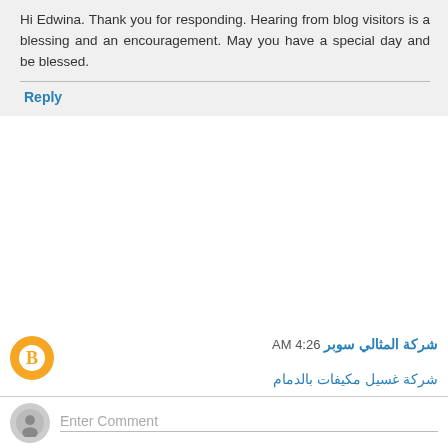Hi Edwina. Thank you for responding. Hearing from blog visitors is a blessing and an encouragement. May you have a special day and be blessed.
Reply
شركة المثالي سوبر 4:26 AM
شركة غسيل مكيفات بالدمام
شركة عزل الاسطح بالخبر
شركة مكافحة النمل الابيض بالقطيف
شركة الصفرات لرش الحشرات الرياض شرق وغرب الرياض
Reply
Enter Comment